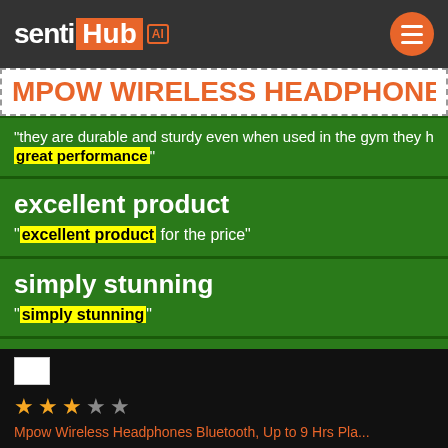sentiHub AI
MPOW WIRELESS HEADPHONE...
"they are durable and sturdy even when used in the gym they hav great performance"
excellent product
"excellent product for the price"
simply stunning
"simply stunning"
great products
Mpow Wireless Headphones Bluetooth, Up to 9 Hrs Pla...